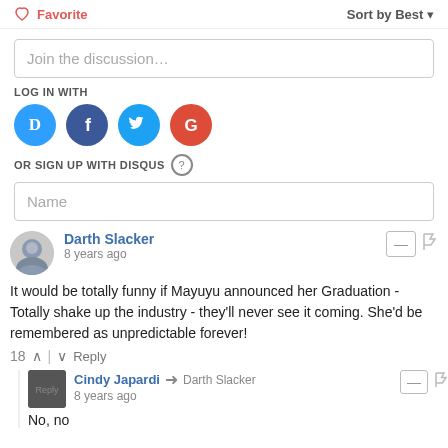Favorite | Sort by Best
Join the discussion…
LOG IN WITH
[Figure (illustration): Social login icons: Disqus (blue D), Facebook (dark blue f), Twitter (light blue bird), Google (red G)]
OR SIGN UP WITH DISQUS (?)
Name
Darth Slacker
8 years ago
It would be totally funny if Mayuyu announced her Graduation - Totally shake up the industry - they'll never see it coming. She'd be remembered as unpredictable forever!
18 ^ | v Reply
Cindy Japardi → Darth Slacker
8 years ago
No, no